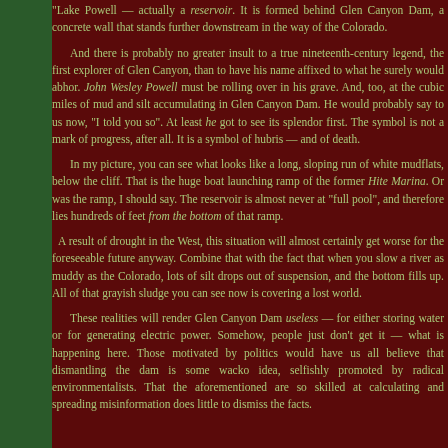Lake Powell — actually a reservoir. It is formed behind Glen Canyon Dam, a concrete wall that stands further downstream in the way of the Colorado.
And there is probably no greater insult to a true nineteenth-century legend, the first explorer of Glen Canyon, than to have his name affixed to what he surely would abhor. John Wesley Powell must be rolling over in his grave. And, too, at the cubic miles of mud and silt accumulating in Glen Canyon Dam. He would probably say to us now, "I told you so". At least he got to see its splendor first. The symbol is not a mark of progress, after all. It is a symbol of hubris — and of death.
In my picture, you can see what looks like a long, sloping run of white mudflats, below the cliff. That is the huge boat launching ramp of the former Hite Marina. Or was the ramp, I should say. The reservoir is almost never at "full pool", and therefore lies hundreds of feet from the bottom of that ramp.
A result of drought in the West, this situation will almost certainly get worse for the foreseeable future anyway. Combine that with the fact that when you slow a river as muddy as the Colorado, lots of silt drops out of suspension, and the bottom fills up. All of that grayish sludge you can see now is covering a lost world.
These realities will render Glen Canyon Dam useless — for either storing water or for generating electric power. Somehow, people just don't get it — what is happening here. Those motivated by politics would have us all believe that dismantling the dam is some wacko idea, selfishly promoted by radical environmentalists. That the aforementioned are so skilled at calculating and spreading misinformation does little to dismiss the facts.